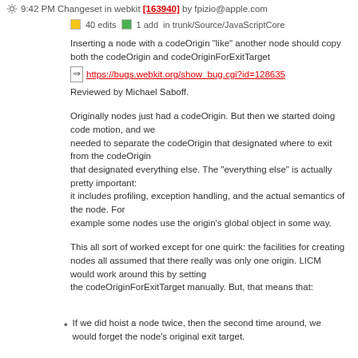9:42 PM Changeset in webkit [163940] by fpizio@apple.com
40 edits   1 add   in trunk/Source/JavaScriptCore
Inserting a node with a codeOrigin "like" another node should copy both the codeOrigin and codeOriginForExitTarget
https://bugs.webkit.org/show_bug.cgi?id=128635
Reviewed by Michael Saboff.
Originally nodes just had a codeOrigin. But then we started doing code motion, and we
needed to separate the codeOrigin that designated where to exit from the codeOrigin
that designated everything else. The "everything else" is actually pretty important:
it includes profiling, exception handling, and the actual semantics of the node. For
example some nodes use the origin's global object in some way.
This all sort of worked except for one quirk: the facilities for creating nodes all assumed that there really was only one origin. LICM would work around this by setting
the codeOriginForExitTarget manually. But, that means that:
If we did hoist a node twice, then the second time around, we would forget the node's original exit target.